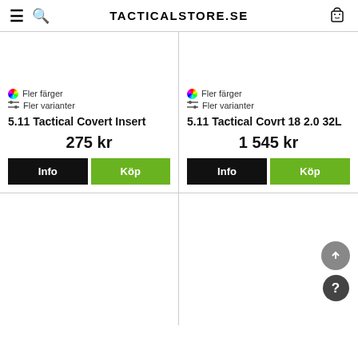TACTICALSTORE.SE
Fler färger
Fler varianter
5.11 Tactical Covert Insert
275 kr
Fler färger
Fler varianter
5.11 Tactical Covrt 18 2.0 32L
1 545 kr